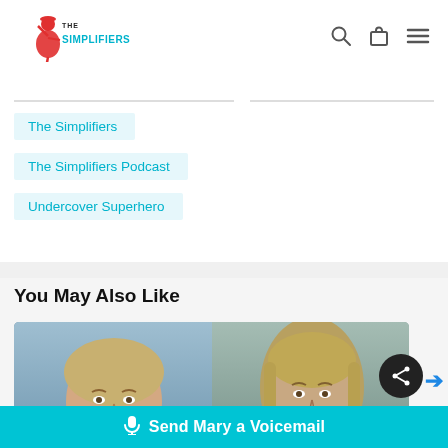[Figure (logo): The Simplifiers logo — red flamingo/dancer figure with 'THE SIMPLIFIERS' text in teal]
The Simplifiers
The Simplifiers Podcast
Undercover Superhero
You May Also Like
[Figure (photo): Two headshot photos side by side: left is a short-haired blonde older woman, right is a long straight-haired blonde woman]
Send Mary a Voicemail